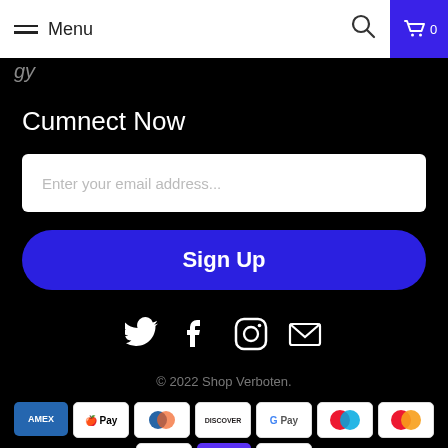Menu
gy
Cumnect Now
Enter your email address...
Sign Up
[Figure (illustration): Social media icons: Twitter, Facebook, Instagram, Email]
© 2022 Shop Verboten.
[Figure (illustration): Payment method icons: AMEX, Apple Pay, Diners Club, Discover, Google Pay, Mastercard (two versions), PayPal, Shop Pay, Visa]